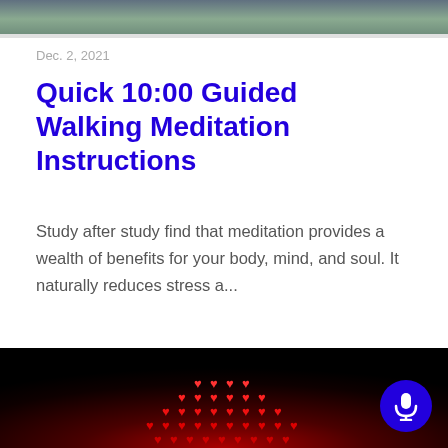[Figure (photo): Top portion of an outdoor nature/walking scene image, cropped]
Dec. 2, 2021
Quick 10:00 Guided Walking Meditation Instructions
Study after study find that meditation provides a wealth of benefits for your body, mind, and soul. It naturally reduces stress a...
→ Episode page
[Figure (photo): Bottom image showing red heart shapes arranged in a cluster on a dark red/black background]